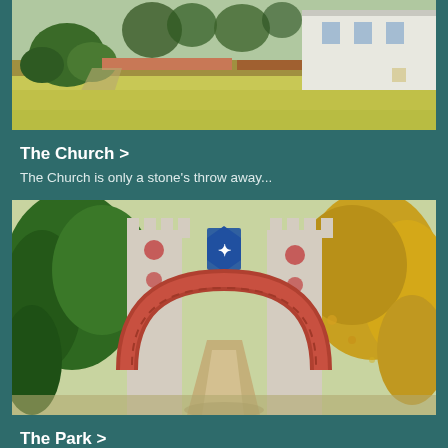[Figure (photo): Outdoor photo of a church building with green lawn and garden in the foreground, partial view showing a white building with trees and flower beds]
The Church >
The Church is only a stone's throw away...
[Figure (photo): Photo of an ornate stone and brick arched gateway with decorative battlements, flanked by autumn trees with yellow and green foliage, a pathway visible through the arch]
The Park >
One of the historic yet historical parks of Finland...